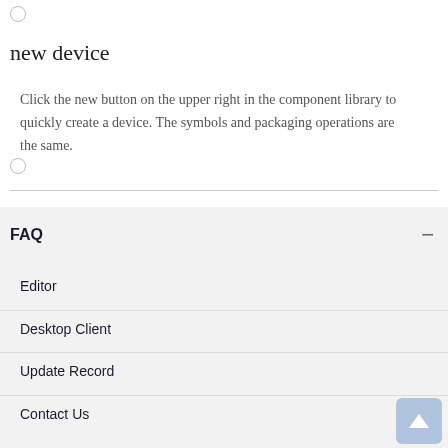new device
Click the new button on the upper right in the component library to quickly create a device. The symbols and packaging operations are the same.
FAQ
Editor
Desktop Client
Update Record
Contact Us